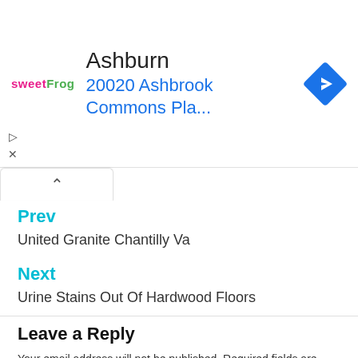[Figure (screenshot): Ad banner for sweetFrog frozen yogurt in Ashburn showing address 20020 Ashbrook Commons Pla... with a blue navigation arrow icon]
Prev
United Granite Chantilly Va
Next
Urine Stains Out Of Hardwood Floors
Leave a Reply
Your email address will not be published. Required fields are marked *
Comment